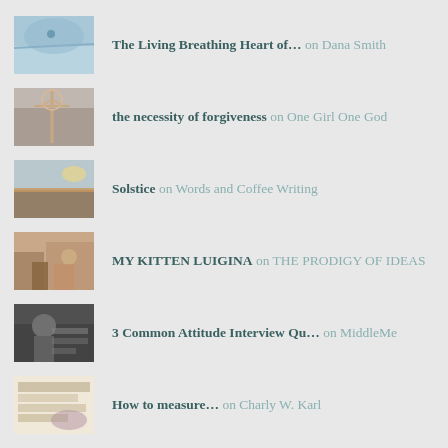The Living Breathing Heart of… on Dana Smith
the necessity of forgiveness on One Girl One God
Solstice on Words and Coffee Writing
MY KITTEN LUIGINA on THE PRODIGY OF IDEAS
3 Common Attitude Interview Qu… on MiddleMe
How to measure… on Charly W. Karl
The House in Formentera, Spain on Charly W. Karl